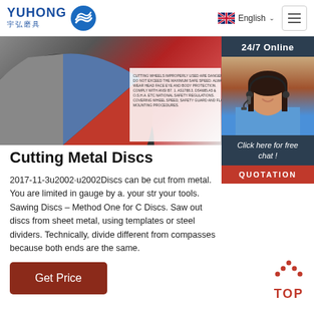YUHONG 宇弘磨具 — English
[Figure (photo): Partial view of a cutting disc (metal cutting wheel) with safety warnings printed on the label in red, blue and gray sections. A customer service chat sidebar on the right shows a woman with headset, 24/7 Online banner, Click here for free chat text, and a QUOTATION button.]
Cutting Metal Discs
2017-11-3u2002·u2002Discs can be cut from metal. You are limited in gauge by a. your str your tools. Sawing Discs – Method One for C Discs. Saw out discs from sheet metal, using templates or steel dividers. Technically, divide different from compasses because both ends are the same.
[Figure (other): Get Price button — dark red/brown rectangular button with white text]
[Figure (other): TOP scroll-to-top icon with red text and dot pattern arrow]